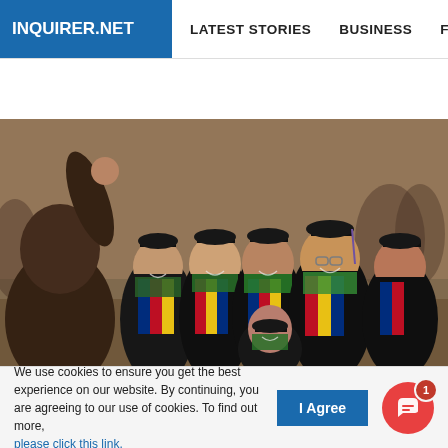INQUIRER.NET | LATEST STORIES | BUSINESS | FINANCE | TECHNOLO
[Figure (photo): Group of graduating students wearing black academic gowns with Philippine flag sashes and green hoods, smiling and posing for a photo at a graduation ceremony. A person in the foreground raises a fist toward the camera.]
We use cookies to ensure you get the best experience on our website. By continuing, you are agreeing to our use of cookies. To find out more, please click this link.